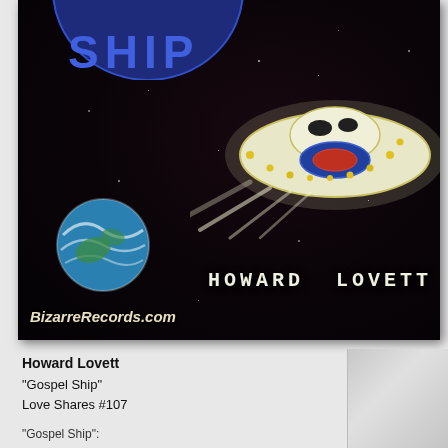[Figure (illustration): Album cover artwork showing a space scene on black background: partial blue circle at top with 'SHIP' text visible, a UFO/flying saucer with yellow glow and light trails on the right, an Earth-like planet with blue and green swirls on the lower left, artist name 'HOWARD LOVETT' in white monospace font at bottom right, and 'BizarreRecords.com' in italic white text at bottom left.]
Howard Lovett
"Gospel Ship"
Love Shares #107
"Gospel Ship":